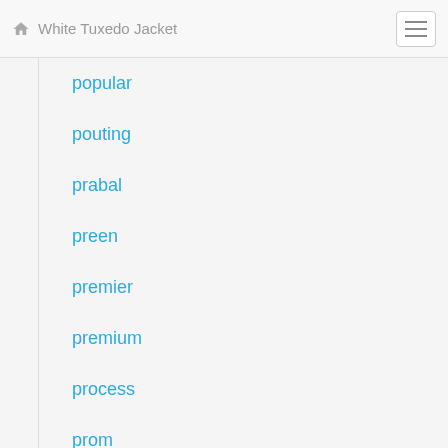White Tuxedo Jacket
popular
pouting
prabal
preen
premier
premium
process
prom
promboyish
pronto